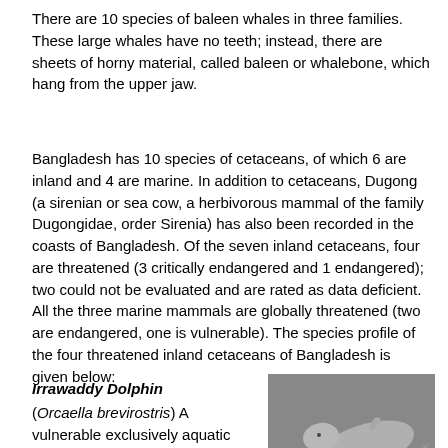There are 10 species of baleen whales in three families. These large whales have no teeth; instead, there are sheets of horny material, called baleen or whalebone, which hang from the upper jaw.
Bangladesh has 10 species of cetaceans, of which 6 are inland and 4 are marine. In addition to cetaceans, Dugong (a sirenian or sea cow, a herbivorous mammal of the family Dugongidae, order Sirenia) has also been recorded in the coasts of Bangladesh. Of the seven inland cetaceans, four are threatened (3 critically endangered and 1 endangered); two could not be evaluated and are rated as data deficient. All the three marine mammals are globally threatened (two are endangered, one is vulnerable). The species profile of the four threatened inland cetaceans of Bangladesh is given below:
Irrawaddy Dolphin
(Orcaella brevirostris) A vulnerable exclusively aquatic cetacean. Its head is globular and blunt, and does not have a beak. Its colour is uniformly slaty grey, its dorsal fin is small and sickle-
[Figure (photo): Black and white photograph of an Irrawaddy Dolphin leaping or swimming at the surface of water, showing its rounded head and body profile.]